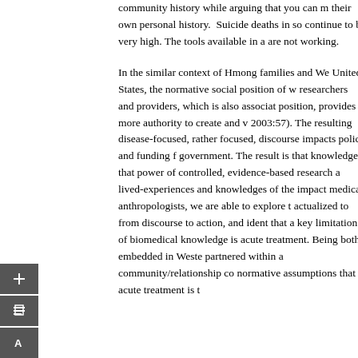community history while arguing that you can m their own personal history. Suicide deaths in so continue to be very high. The tools available in a are not working.
In the similar context of Hmong families and We United States, the normative social position of w researchers and providers, which is also associat position, provides more authority to create and v 2003:57). The resulting disease-focused, rather focused, discourse impacts policy and funding f government. The result is that knowledges that power of controlled, evidence-based research a lived-experiences and knowledges of the impact medical anthropologists, we are able to explore t actualized to from discourse to action, and iden that a key limitation of biomedical knowledge is acute treatment. Being both embedded in Weste partnered within a community/relationship co normative assumptions that acute treatment is t